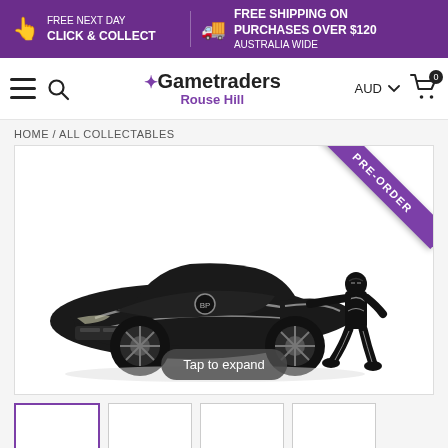FREE NEXT DAY CLICK & COLLECT | FREE SHIPPING ON PURCHASES OVER $120 AUSTRALIA WIDE
Gametraders Rouse Hill — AUD — Cart (0)
HOME / ALL COLLECTABLES
[Figure (photo): Black Panther themed die-cast black sports car (Lykan Hypersport style) with Black Panther action figure beside it. PRE-ORDER ribbon in top-right corner. 'Tap to expand' pill at the bottom.]
[Figure (photo): Thumbnail strip of product images at the bottom of the page (partially visible)]